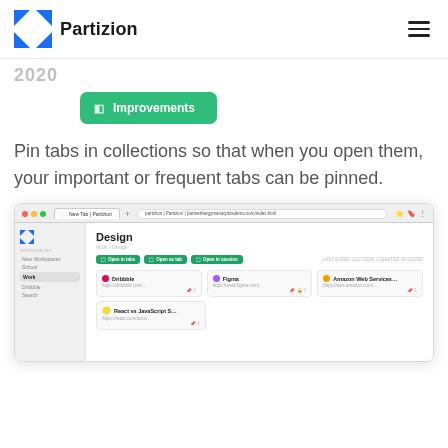Partizion
2020
Improvements
Pin tabs in collections so that when you open them, your important or frequent tabs can be pinned.
[Figure (screenshot): Browser screenshot showing the Partizion web app with a 'Design' collection open, displaying pinned tabs including Dribbble, Figma, and Amazon Web Services entries, with action buttons and sidebar navigation.]